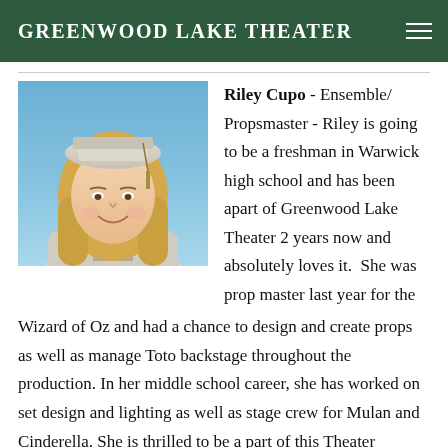Greenwood Lake Theater
[Figure (photo): Portrait photo of Riley Cupo wearing a white graduation cap and gown with long blonde hair, smiling, with a blue background.]
Riley Cupo - Ensemble/Propsmaster - Riley is going to be a freshman in Warwick high school and has been apart of Greenwood Lake Theater 2 years now and absolutely loves it. She was prop master last year for the Wizard of Oz and had a chance to design and create props as well as manage Toto backstage throughout the production. In her middle school career, she has worked on set design and lighting as well as stage crew for Mulan and Cinderella. She is thrilled to be a part of this Theater program to learn how